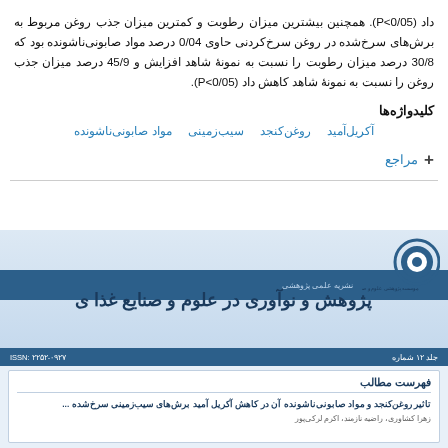داد (P<0/05). همچنین بیشترین میزان رطوبت و کمترین میزان جذب روغن مربوط به برش‌های سرخ‌شده در روغن سرخ‌کردنی حاوی 0/04 درصد مواد صابونی‌ناشونده بود که 30/8 درصد میزان رطوبت را نسبت به نمونهٔ شاهد افزایش و 45/9 درصد میزان جذب روغن را نسبت به نمونهٔ شاهد کاهش داد (P<0/05).
کلیدواژه‌ها
آکریل‌آمید   روغن‌کنجد   سیب‌زمینی   مواد صابونی‌ناشونده
+ مراجع
[Figure (screenshot): Journal cover/header for 'پژوهش و نوآوری در علوم و صنایع غذا' (Research and Innovation in Food Science and Technology) with blue banner, logo, ISSN bar, and table of contents section showing article title and authors.]